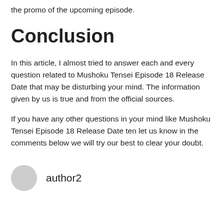the promo of the upcoming episode.
Conclusion
In this article, I almost tried to answer each and every question related to Mushoku Tensei Episode 18 Release Date that may be disturbing your mind. The information given by us is true and from the official sources.
If you have any other questions in your mind like Mushoku Tensei Episode 18 Release Date ten let us know in the comments below we will try our best to clear your doubt.
author2